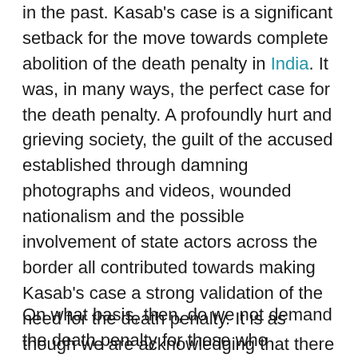in the past. Kasab's case is a significant setback for the move towards complete abolition of the death penalty in India. It was, in many ways, the perfect case for the death penalty. A profoundly hurt and grieving society, the guilt of the accused established through damning photographs and videos, wounded nationalism and the possible involvement of state actors across the border all contributed towards making Kasab's case a strong validation of the need for the death penalty. It is as though we are acknowledging that there will be moments in our life as a nation where we will need to satisfy our need for collective revenge. A need satisfied with the gloss of the rule of law.
On what basis, then, do we not demand the death penalty for those who masterminded and led the carnage in